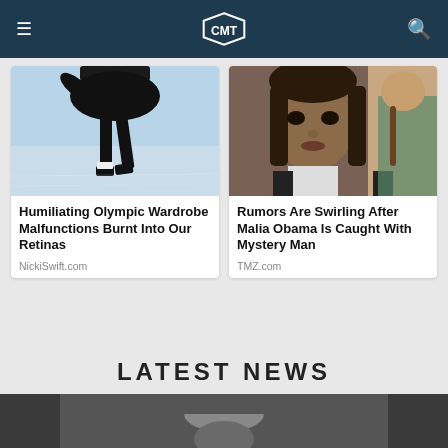CMT
[Figure (photo): Figure skater in black outfit performing on ice rink, lower body visible]
Humiliating Olympic Wardrobe Malfunctions Burnt Into Our Retinas
NickiSwift.com
[Figure (photo): Young woman with dark hair looking at camera, wearing white top and black jacket]
Rumors Are Swirling After Malia Obama Is Caught With Mystery Man
TMZ.com
LATEST NEWS
[Figure (photo): Partial view of person at bottom of page, latest news section thumbnail]